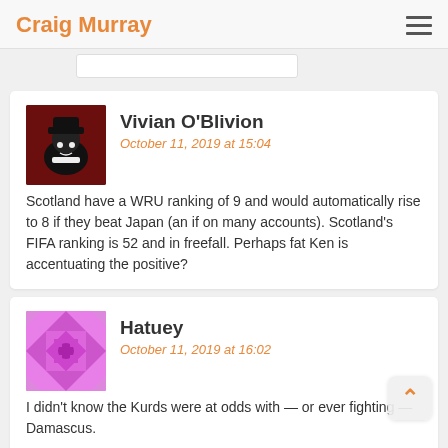Craig Murray
Vivian O'Blivion
October 11, 2019 at 15:04
Scotland have a WRU ranking of 9 and would automatically rise to 8 if they beat Japan (an if on many accounts). Scotland's FIFA ranking is 52 and in freefall. Perhaps fat Ken is accentuating the positive?
Hatuey
October 11, 2019 at 16:02
I didn't know the Kurds were at odds with — or ever fighting — Damascus.
Turkey in an odd way is the easiest country to understand in all